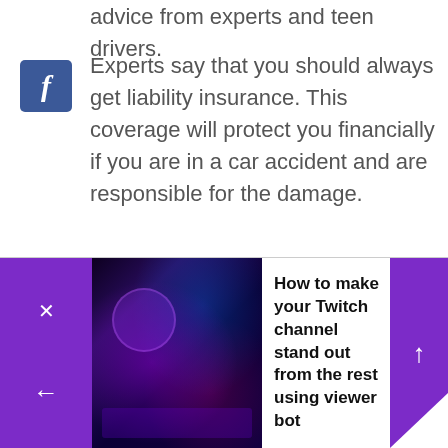advice from experts and teen drivers.
Experts say that you should always get liability insurance. This coverage will protect you financially if you are in a car accident and are responsible for the damage.
Some people believe that you don't need comprehensive or collision insurance. Comprehensive insurance covers things
[Figure (screenshot): Bottom advertising banner for 'How to make your Twitch channel stand out from the rest using viewer bot' with purple sidebar and gaming image]
How to make your Twitch channel stand out from the rest using viewer bot